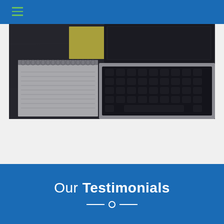Navigation bar with hamburger menu icon
[Figure (photo): Overhead desk scene showing a spiral-bound notebook with lined pages, a yellow sticky note with a pen, and an open laptop keyboard on a dark wood surface.]
Our Testimonials